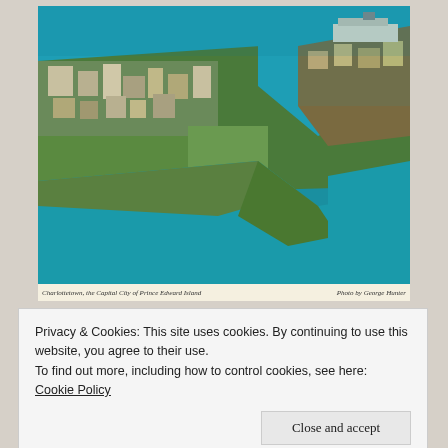[Figure (photo): Aerial photograph of Charlottetown, the Capital City of Prince Edward Island, showing the city with waterways on both sides and a ferry visible. Caption bar at bottom reads: 'Charlottetown, the Capital City of Prince Edward Island' on left and 'Photo by George Hunter' on right.]
Charlottetown The Capital City of Prince Edward Island. Cavalier Postcard # 14891R . Alex Wilson Publications. Distributed by Island Wholesale Kinlock P.E.I. Photo by George Hunter
Privacy & Cookies: This site uses cookies. By continuing to use this website, you agree to their use.
To find out more, including how to control cookies, see here:
Cookie Policy
Close and accept